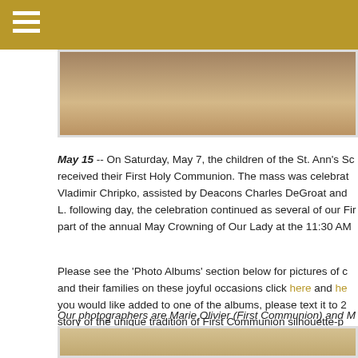[Figure (photo): Top portion of a photo, partially visible at top of page]
May 15 -- On Saturday, May 7, the children of the St. Ann's School received their First Holy Communion. The mass was celebrated by Vladimir Chripko, assisted by Deacons Charles DeGroat and L. following day, the celebration continued as several of our Fir part of the annual May Crowning of Our Lady at the 11:30 AM
Please see the 'Photo Albums' section below for pictures of and their families on these joyful occasions click here and he you would like added to one of the albums, please text it to story of the unique tradition of First Communion silhouette-p here.
Our photographers are Marie Olivier (First Communion) and M Crowning).
[Figure (photo): Bottom photo partially visible at the bottom of the page]